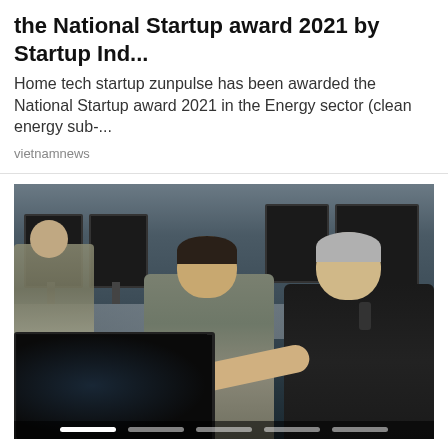the National Startup award 2021 by Startup Ind...
Home tech startup zunpulse has been awarded the National Startup award 2021 in the Energy sector (clean energy sub-...
vietnamnews
[Figure (photo): Two men in a computer lab setting — one in military camouflage uniform and one in a black shirt — looking at a monitor, with the man in black pointing at the screen. Several computer monitors are visible in the background. A navigation slider is visible at the bottom of the image.]